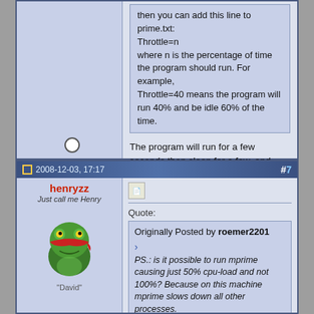then you can add this line to prime.txt:
Throttle=n
where n is the percentage of time the program should run. For example,
Throttle=40 means the program will run 40% and be idle 60% of the time.
The program will run for a few seconds then sleep for a few, and average out at n%. Don't forget to close the program before changing prime.txt.
2008-12-03, 17:17
#7
henryzz
Just call me Henry
"David"
Quote:
Originally Posted by roemer2201
PS.: is it possible to run mprime causing just 50% cpu-load and not 100%? Because on this machine mprime slows down all other processes.